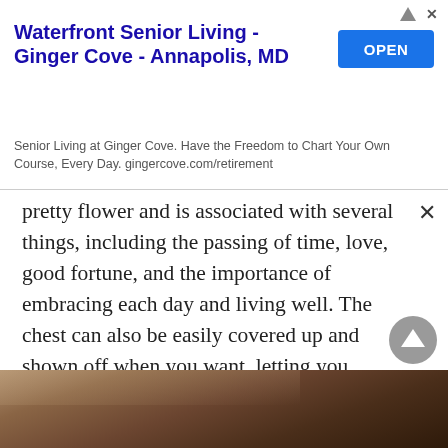[Figure (screenshot): Advertisement banner for Waterfront Senior Living - Ginger Cove, Annapolis MD with a blue OPEN button]
pretty flower and is associated with several things, including the passing of time, love, good fortune, and the importance of embracing each day and living well. The chest can also be easily covered up and shown off when you want, letting you decide who sees your body art. The downside to chest tattoos is that they can be incredibly painful. This is because of the proximity to bone, thin skin, and general sensitivity of the area.
[Figure (photo): Partial close-up photo of skin/body art area at the bottom of the page]